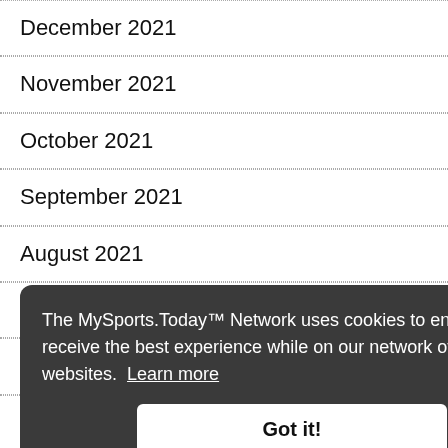December 2021
November 2021
October 2021
September 2021
August 2021
July 2021
June 2021
May 2021
April 2021
March 2021
February 2021
January 2021
The MySports.Today™ Network uses cookies to ensure you receive the best experience while on our network of websites. Learn more
Got it!